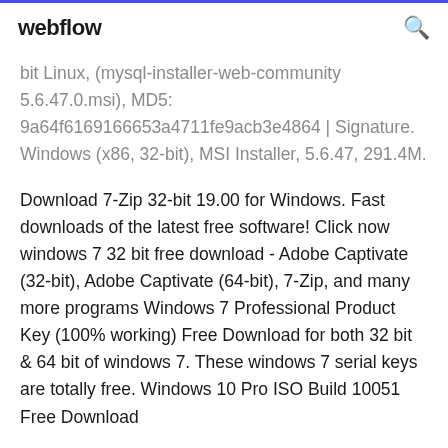webflow
bit Linux, (mysql-installer-web-community 5.6.47.0.msi), MD5: 9a64f6169166653a4711fe9acb3e4864 | Signature. Windows (x86, 32-bit), MSI Installer, 5.6.47, 291.4M.
Download 7-Zip 32-bit 19.00 for Windows. Fast downloads of the latest free software! Click now windows 7 32 bit free download - Adobe Captivate (32-bit), Adobe Captivate (64-bit), 7-Zip, and many more programs Windows 7 Professional Product Key (100% working) Free Download for both 32 bit & 64 bit of windows 7. These windows 7 serial keys are totally free. Windows 10 Pro ISO Build 10051 Free Download